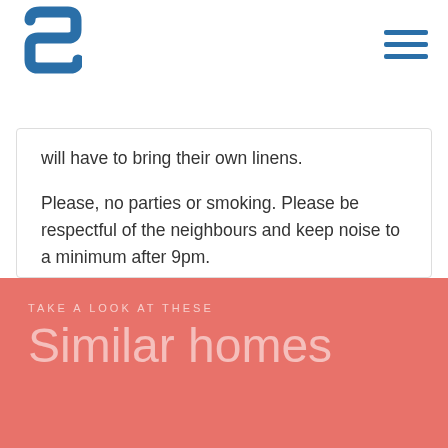S [logo] [hamburger menu]
will have to bring their own linens.
Please, no parties or smoking. Please be respectful of the neighbours and keep noise to a minimum after 9pm.
If these rules are violated we will charge guests to cover the security call out fee and any additional expenses to cover their misbehaviour.
TAKE A LOOK AT THESE
Similar homes